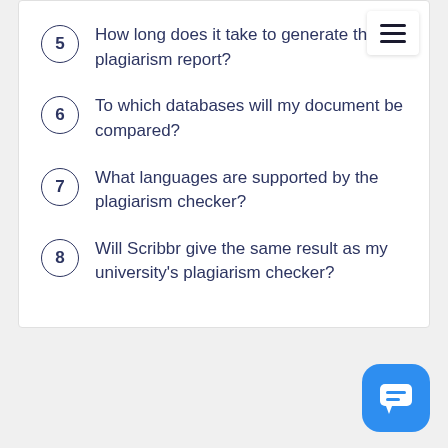5  How long does it take to generate the plagiarism report?
6  To which databases will my document be compared?
7  What languages are supported by the plagiarism checker?
8  Will Scribbr give the same result as my university's plagiarism checker?
[Figure (other): Blue rounded square chat/support button with speech bubble icon at bottom right corner]